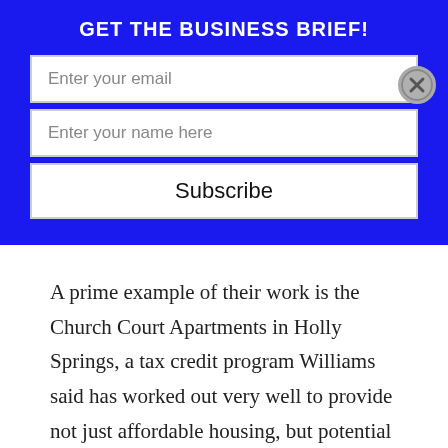GET THE BUSINESS BRIEF!
Enter your email
Enter your name here
Subscribe
A prime example of their work is the Church Court Apartments in Holly Springs, a tax credit program Williams said has worked out very well to provide not just affordable housing, but potential ownership.
Developer Stewart Rutledge said he decided to fill a need for high-quality, but affordable housing. Rutledge said normally if you build really high quality housing, you have